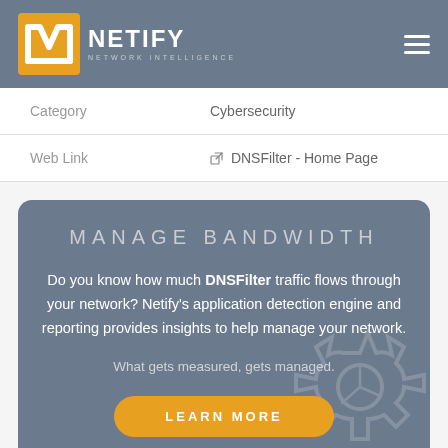NETIFY NETWORK INTELLIGENCE
| Category | Cybersecurity |
| --- | --- |
| Web Link | DNSFilter - Home Page |
MANAGE BANDWIDTH
Do you know how much DNSFilter traffic flows through your network? Netify's application detection engine and reporting provides insights to help manage your network.
What gets measured, gets managed.
LEARN MORE